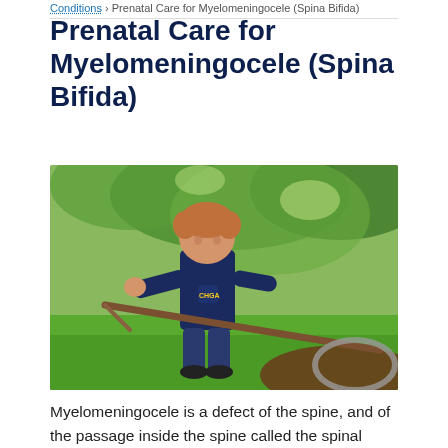Conditions > Prenatal Care for Myelomeningocele (Spina Bifida)
Prenatal Care for Myelomeningocele (Spina Bifida)
[Figure (photo): Young boy smiling and holding a large stick or branch outdoors in a green garden setting, wearing a dark navy Michigan t-shirt]
Myelomeningocele is a defect of the spine, and of the passage inside the spine called the spinal canal. It can occur at any point along the spine. During early fetal